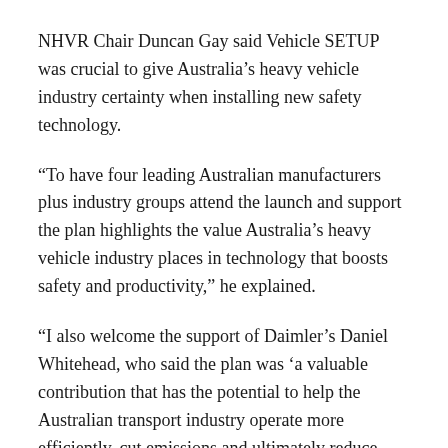NHVR Chair Duncan Gay said Vehicle SETUP was crucial to give Australia's heavy vehicle industry certainty when installing new safety technology.
“To have four leading Australian manufacturers plus industry groups attend the launch and support the plan highlights the value Australia’s heavy vehicle industry places in technology that boosts safety and productivity,” he explained.
“I also welcome the support of Daimler’s Daniel Whitehead, who said the plan was ‘a valuable contribution that has the potential to help the Australian transport industry operate more efficiently, cut emissions and ultimately reduce road accident